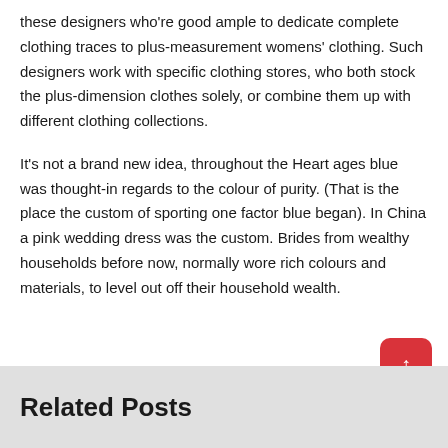these designers who're good ample to dedicate complete clothing traces to plus-measurement womens' clothing. Such designers work with specific clothing stores, who both stock the plus-dimension clothes solely, or combine them up with different clothing collections.
It's not a brand new idea, throughout the Heart ages blue was thought-in regards to the colour of purity. (That is the place the custom of sporting one factor blue began). In China a pink wedding dress was the custom. Brides from wealthy households before now, normally wore rich colours and materials, to level out off their household wealth.
Related Posts